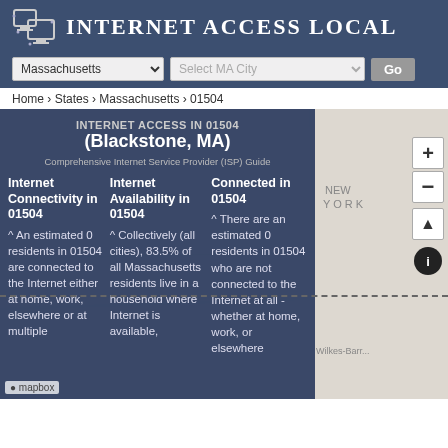INTERNET ACCESS LOCAL
Massachusetts | Select MA City | Go
Home › States › Massachusetts › 01504
INTERNET ACCESS IN 01504
(Blackstone, MA)
Internet Connectivity in 01504
^ An estimated 0 residents in 01504 are connected to the Internet either at home, work, elsewhere or at multiple
Internet Availability in 01504
^ Collectively (all cities), 83.5% of all Massachusetts residents live in a household where Internet is available,
Connected in 01504
^ There are an estimated 0 residents in 01504 who are not connected to the Internet at all - whether at home, work, or elsewhere
[Figure (map): Interactive map showing the geographic area around Blackstone, MA (ZIP 01504) with map tiles]